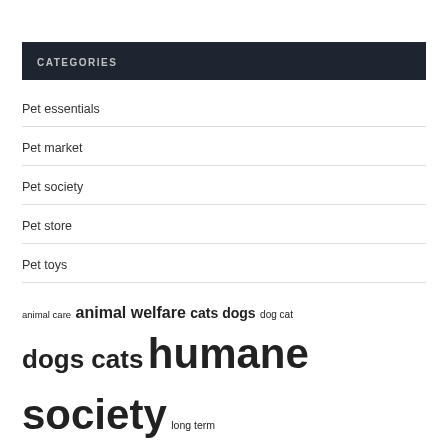CATEGORIES
Pet essentials
Pet market
Pet society
Pet store
Pet toys
animal care  animal welfare  cats dogs  dog cat  dogs cats  humane society  long term  pet owners  pet products  pet stores  pet toys  puppy mills  society united  united states